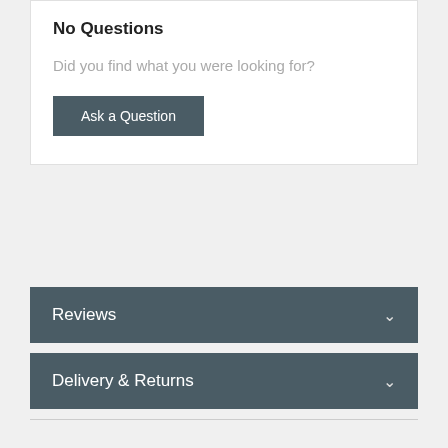No Questions
Did you find what you were looking for?
Ask a Question
Reviews
Delivery & Returns